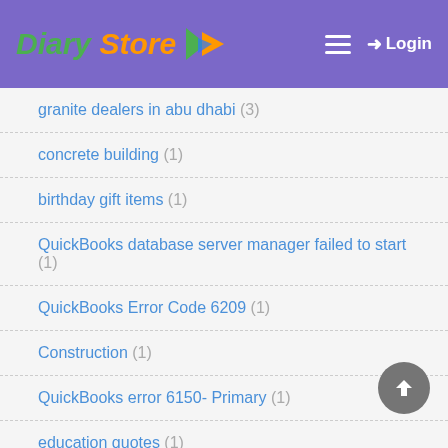Diary Store — Login
granite dealers in abu dhabi (3)
concrete building (1)
birthday gift items (1)
QuickBooks database server manager failed to start (1)
QuickBooks Error Code 6209 (1)
Construction (1)
QuickBooks error 6150- Primary (1)
education quotes (1)
QuickBooks Desktop error 61 (1)
QuickBooks Online Page will Not Load (1)
QB Premier vs Pro (1)
#quickbooks error (4)